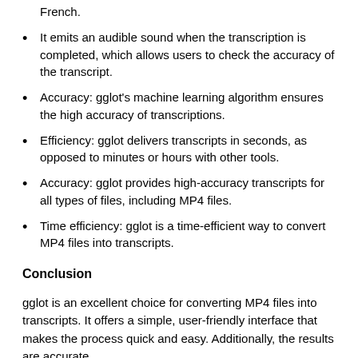It supports several languages including English, Spanish, and French.
It emits an audible sound when the transcription is completed, which allows users to check the accuracy of the transcript.
Accuracy:  gglot's machine learning algorithm ensures the high accuracy of transcriptions.
Efficiency:  gglot delivers transcripts in seconds, as opposed to minutes or hours with other tools.
Accuracy:  gglot provides high-accuracy transcripts for all types of files, including MP4 files.
Time efficiency: gglot is a time-efficient way to convert MP4 files into transcripts.
Conclusion
gglot is an excellent choice for converting MP4 files into transcripts. It offers a simple, user-friendly interface that makes the process quick and easy. Additionally, the results are accurate